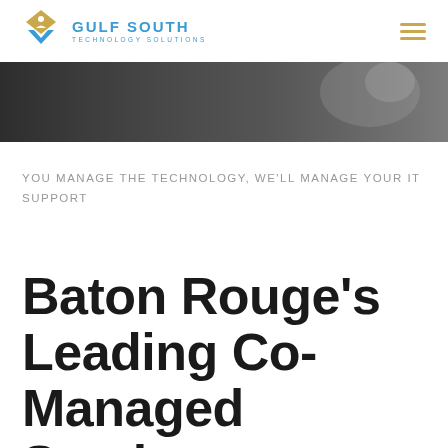GULF SOUTH TECHNOLOGY SOLUTIONS
[Figure (photo): Dark background hero image with partial view of a person or scene]
YOU MANAGE THE TECHNOLOGY, WE'LL MANAGE YOUR IT SUPPORT
Baton Rouge's Leading Co-Managed Service Provider